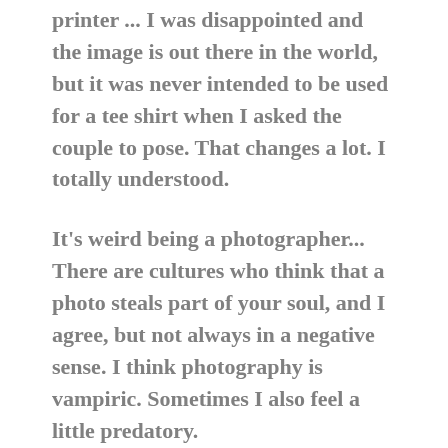printer ... I was disappointed and the image is out there in the world, but it was never intended to be used for a tee shirt when I asked the couple to pose. That changes a lot. I totally understood.
It's weird being a photographer... There are cultures who think that a photo steals part of your soul, and I agree, but not always in a negative sense. I think photography is vampiric. Sometimes I also feel a little predatory.
Even when I see someone who I think looks cool on the street and I ask to take